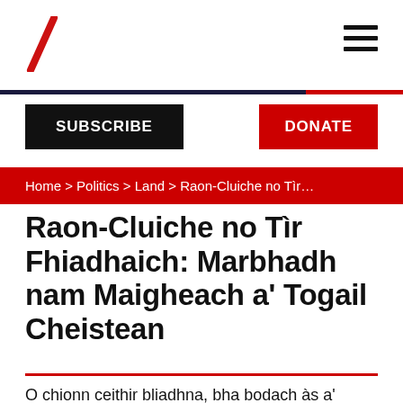SUBSCRIBE
DONATE
Home > Politics > Land > Raon-Cluiche no Tìr...
Raon-Cluiche no Tìr Fhiadhaich: Marbhadh nam Maigheach a' Togail Cheistean
O chionn ceithir bliadhna, bha bodach às a'